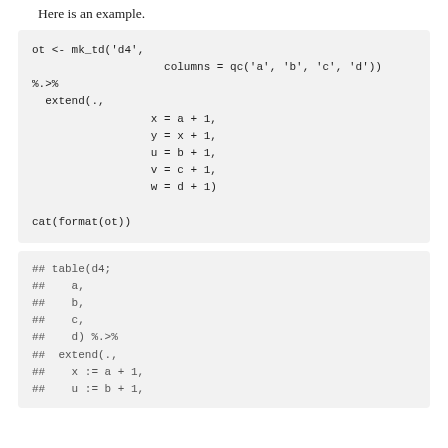Here is an example.
[Figure (screenshot): R code block: ot <- mk_td('d4', columns = qc('a', 'b', 'c', 'd')) %.>% extend(., x = a + 1, y = x + 1, u = b + 1, v = c + 1, w = d + 1) then cat(format(ot))]
[Figure (screenshot): R output block: ## table(d4; ## a, ## b, ## c, ## d) %.>% ## extend(., ## x := a + 1, ## u := b + 1,]